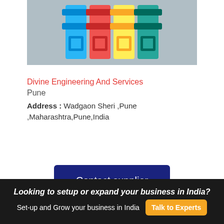[Figure (photo): Product photo showing colorful cylindrical hand tools/devices in blue, red, yellow, and teal colors arranged side by side against a grey background.]
Divine Engineering And Services
Pune
Address : Wadgaon Sheri ,Pune ,Maharashtra,Pune,India
Contact supplier
Looking to setup or expand your business in India? Set-up and Grow your business in India   Talk to Experts